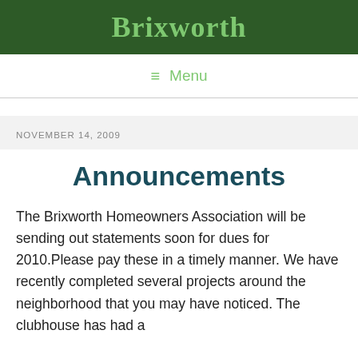Brixworth
≡  Menu
NOVEMBER 14, 2009
Announcements
The Brixworth Homeowners Association will be sending out statements soon for dues for 2010.Please pay these in a timely manner. We have recently completed several projects around the neighborhood that you may have noticed. The clubhouse has had a